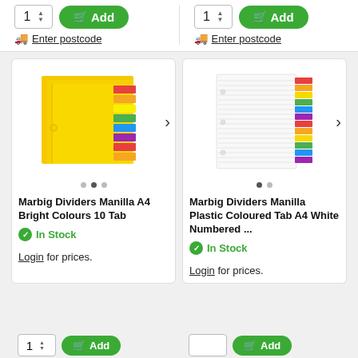[Figure (screenshot): Two add-to-cart quantity spinners with green Add buttons and Enter postcode links at the top of the page]
[Figure (photo): Marbig Dividers Manilla A4 Bright Colours 10 Tab product image showing yellow manila dividers with coloured tabs]
Marbig Dividers Manilla A4 Bright Colours 10 Tab
In Stock
Login for prices.
[Figure (photo): Marbig Dividers Manilla Plastic Coloured Tab A4 White Numbered product image showing white dividers with coloured numbered tabs]
Marbig Dividers Manilla Plastic Coloured Tab A4 White Numbered ...
In Stock
Login for prices.